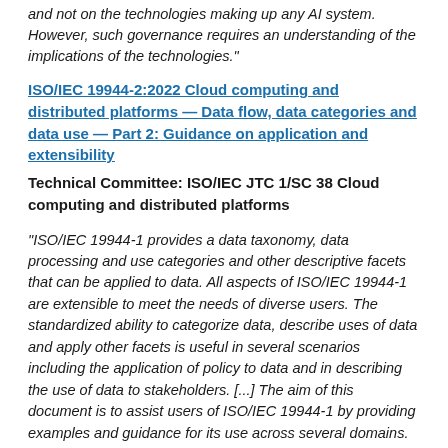and not on the technologies making up any AI system. However, such governance requires an understanding of the implications of the technologies."
ISO/IEC 19944-2:2022 Cloud computing and distributed platforms — Data flow, data categories and data use — Part 2: Guidance on application and extensibility
Technical Committee: ISO/IEC JTC 1/SC 38 Cloud computing and distributed platforms
"ISO/IEC 19944-1 provides a data taxonomy, data processing and use categories and other descriptive facets that can be applied to data. All aspects of ISO/IEC 19944-1 are extensible to meet the needs of diverse users. The standardized ability to categorize data, describe uses of data and apply other facets is useful in several scenarios including the application of policy to data and in describing the use of data to stakeholders. [...] The aim of this document is to assist users of ISO/IEC 19944-1 by providing examples and guidance for its use across several domains. Additionally, this document provides users who need to extend ISO/IEC 19944-1 with examples and guidance. This document provides guidance on the application of the taxonomy and use